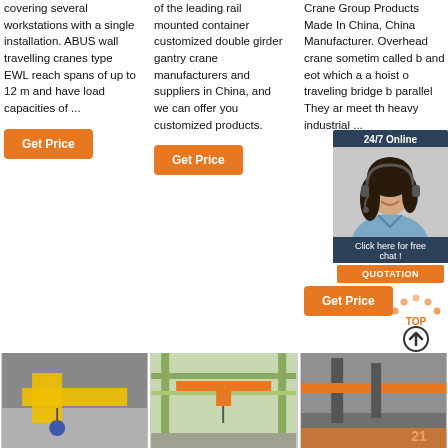covering several workstations with a single installation. ABUS wall travelling cranes type EWL reach spans of up to 12 m and have load capacities of ...
of the leading rail mounted container customized double girder gantry crane manufacturers and suppliers in China, and we can offer you customized products.
Crane Group Products Made In China, China Manufacturer. Overhead crane sometimes called bridge and eot crane, which a hoist on a traveling bridge beam parallel... They are designed meet the heavy industrial ...
[Figure (screenshot): 24/7 Online chat popup with woman customer service agent photo, 'Click here for free chat!' text, and QUOTATION orange button]
[Figure (photo): Bottom row of three crane-related industrial photos]
[Figure (illustration): TOP arrow scroll-to-top icon]